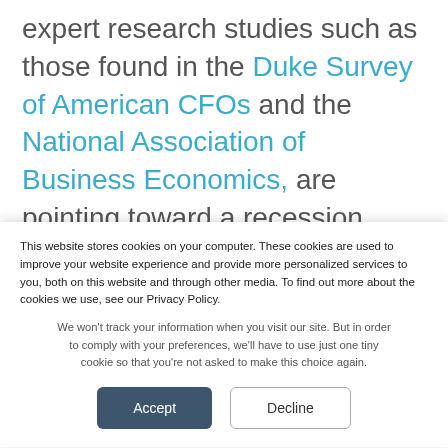expert research studies such as those found in the Duke Survey of American CFOs and the National Association of Business Economics, are pointing toward a recession beginning within the next 18 months, a potential recession isn't expected to be driven by the housing industry. That means we likely won't
This website stores cookies on your computer. These cookies are used to improve your website experience and provide more personalized services to you, both on this website and through other media. To find out more about the cookies we use, see our Privacy Policy.
We won't track your information when you visit our site. But in order to comply with your preferences, we'll have to use just one tiny cookie so that you're not asked to make this choice again.